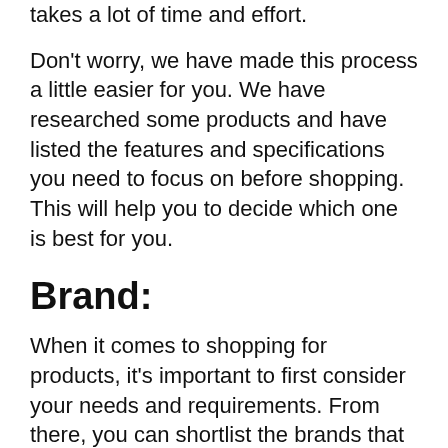takes a lot of time and effort.
Don't worry, we have made this process a little easier for you. We have researched some products and have listed the features and specifications you need to focus on before shopping. This will help you to decide which one is best for you.
Brand:
When it comes to shopping for products, it's important to first consider your needs and requirements. From there, you can shortlist the brands that best meet your needs. Keep in mind that products from famous brands can be expensive, as they have a good reputation to protect.